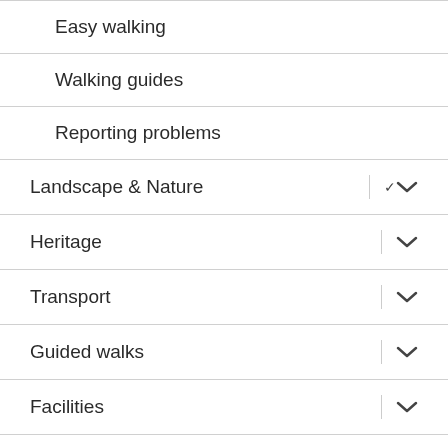Easy walking
Walking guides
Reporting problems
Landscape & Nature
Heritage
Transport
Guided walks
Facilities
Gallery